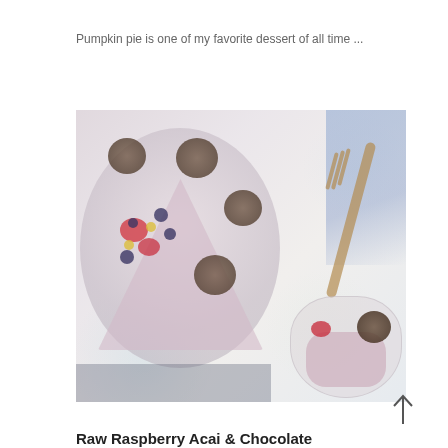Pumpkin pie is one of my favorite dessert of all time ...
[Figure (photo): Overhead food photography showing a pink raspberry/acai cake on a white plate topped with chocolate cookies and fresh berries (raspberries, blueberries), accompanied by a wooden fork and a glass bowl with cake slice, all on a floral tablecloth.]
Raw Raspberry Acai & Chocolate